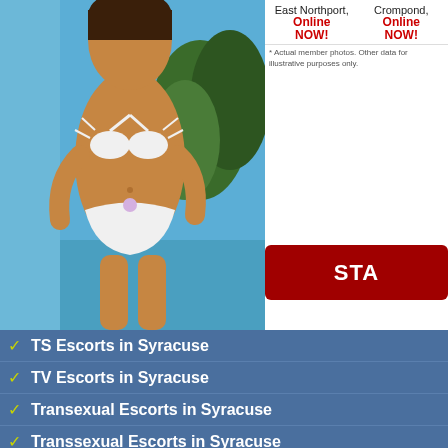[Figure (photo): Person in white bikini near a pool with blue water and green plants in background]
East Northport,
Crompond,
Online NOW!
Online NOW!
* Actual member photos. Other data for illustrative purposes only.
STA
Searching is 100% safe.
Check how many Transvestit
TS Escorts in Syracuse
TV Escorts in Syracuse
Transexual Escorts in Syracuse
Transsexual Escorts in Syracuse
Transvestite Escorts in Syracuse
Transvestite Escorts in Syracuse!
Transgendered Escorts in Syracuse